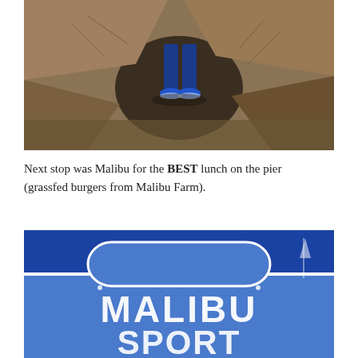[Figure (photo): A person standing in a dirt excavation pit, viewed from above, wearing blue shoes. Dry cracked earth surrounds the person.]
Next stop was Malibu for the BEST lunch on the pier (grassfed burgers from Malibu Farm).
[Figure (photo): A blue-sky photo looking up at a large blue and white Malibu Sport sign, with decorative lettering spelling out MALIBU and SPORT partially visible.]